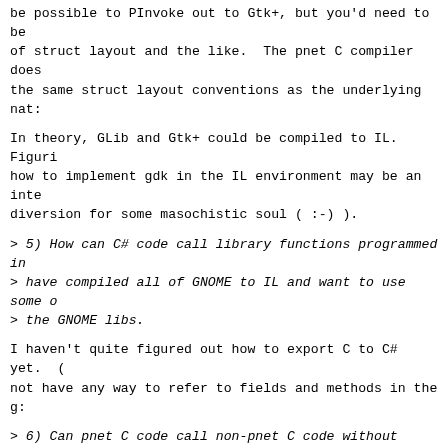be possible to PInvoke out to Gtk+, but you'd need to be of struct layout and the like.  The pnet C compiler does the same struct layout conventions as the underlying nat:
In theory, GLib and Gtk+ could be compiled to IL.  Figuri how to implement gdk in the IL environment may be an inte diversion for some masochistic soul ( :-) ).
> 5) How can C# code call library functions programmed in > have compiled all of GNOME to IL and want to use some o > the GNOME libs.
I haven't quite figured out how to export C to C# yet.  ( not have any way to refer to fields and methods in the g:
> 6) Can pnet C code call non-pnet C code without using n > convention.
That "pesky" convention is necessary or massive numbers o and reduce/reduce conflicts are introduced into the C gra syntax of C and C# method calls are fundamentally incompa
> Perhaps by using a GTK like method call (system_console > (char * string))? This is very important for webservice > otherwise can't access methods in a class (and all C# n > and thus miss out on a lot of functionality.
I'm thinking about it, but need to find the right style w end up turning C into C#, and destroying all reasons for